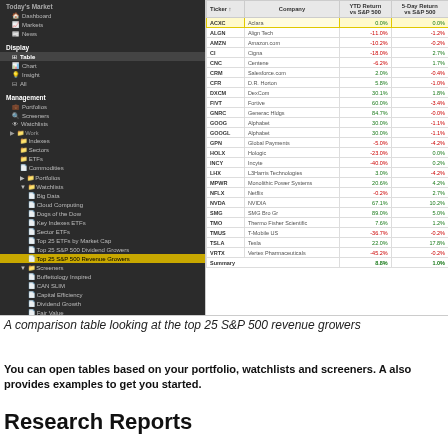[Figure (screenshot): Screenshot of a financial platform showing a navigation sidebar on the left with sections: Today's Market, Display (Table selected), Management, More Goodies, Resources, Bookmarks. The sidebar shows watchlists including 'Top 25 S&P 500 Revenue Growers' highlighted. On the right is a data table showing top 25 S&P 500 revenue growers with columns: Ticker, Company, YTD Return vs S&P 500, 5-Day Return vs S&P 500. Rows include ACXC/Aclara (highlighted), ALGN/Align Tech, AMZN/Amazon.com, CI/Cigna, CNC/Centene, CRM/Salesforce.com, CFR, DXCM/DexCom, FIVT/Fortive, GNRC/Generac Hldgs, GOOG/Alphabet, GOOGL/Alphabet, GPN/Global Payments, HOLX/Hologic, INCY/Incyte, LHX/L3Harris Technologies, MPWR/Monolithic Power Systems, NFLX/Netflix, NVDA/NVIDIA, SMG/SMG Bro Gr, TMO/Thermo Fisher Scientific, TMUS/T-Mobile US, TSLA/Tesla, VRTX/Vertex Pharmaceuticals, with a Summary row showing 8.8% and 1.0%.]
A comparison table looking at the top 25 S&P 500 revenue growers
You can open tables based on your portfolio, watchlists and screeners. A also provides examples to get you started.
Research Reports